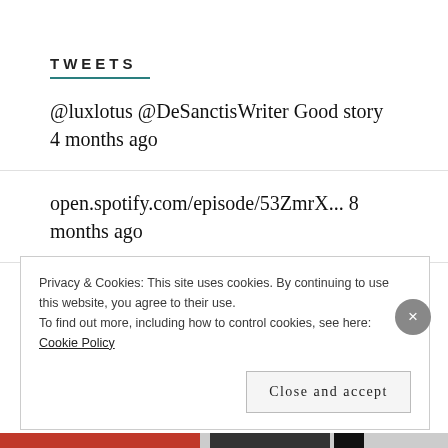TWEETS
@luxlotus @DeSanctisWriter Good story 4 months ago
open.spotify.com/episode/53ZmrX... 8 months ago
RT @normanswan: We’re now in science-free political management of the pandemic. No science behind individual responsibility. NSW COVID case... 8 months ago
Privacy & Cookies: This site uses cookies. By continuing to use this website, you agree to their use.
To find out more, including how to control cookies, see here: Cookie Policy
Close and accept